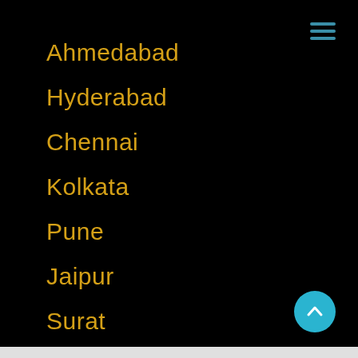Ahmedabad
Hyderabad
Chennai
Kolkata
Pune
Jaipur
Surat
Lucknow